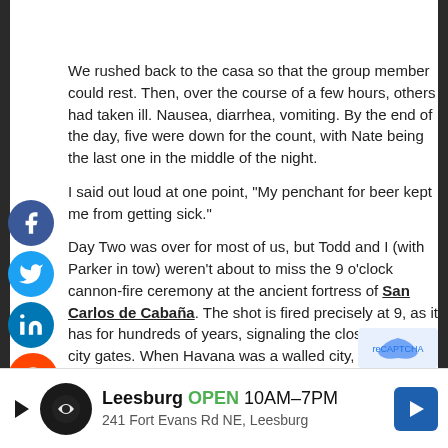We rushed back to the casa so that the group member could rest. Then, over the course of a few hours, others had taken ill. Nausea, diarrhea, vomiting. By the end of the day, five were down for the count, with Nate being the last one in the middle of the night.
I said out loud at one point, "My penchant for beer kept me from getting sick."
Day Two was over for most of us, but Todd and I (with Parker in tow) weren't about to miss the 9 o'clock cannon-fire ceremony at the ancient fortress of San Carlos de Cabaña. The shot is fired precisely at 9, as it has for hundreds of years, signaling the closing of the city gates. When Havana was a walled city, the Cabaña and Morro fortresses were used to guard the entrance from the naval fleets of rivaling powers such as England a
[Figure (infographic): Social share buttons: Facebook, Twitter, LinkedIn, Reddit, Email icons on left side]
[Figure (infographic): Advertisement banner: Leesburg OPEN 10AM-7PM, 241 Fort Evans Rd NE, Leesburg with navigation arrow icon]